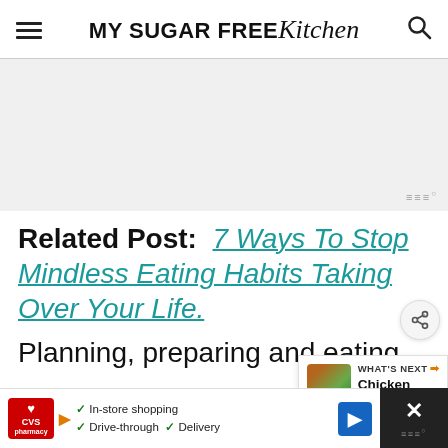MY SUGAR FREE Kitchen
[Figure (other): Advertisement placeholder area, light gray background]
Related Post:  7 Ways To Stop Mindless Eating Habits Taking Over Your Life.
Planning, preparing and eating
[Figure (other): Bottom banner advertisement: CVS Pharmacy ad with In-store shopping, Drive-through, Delivery options and navigation arrow icon]